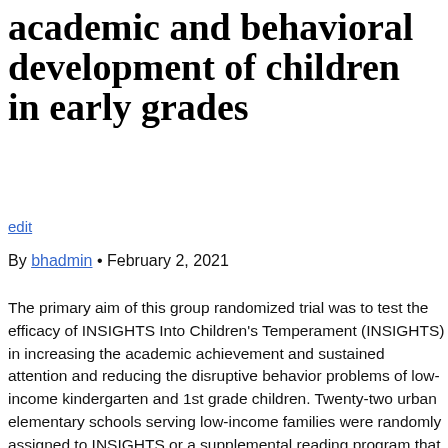academic and behavioral development of children in early grades
edit
By bhadmin • February 2, 2021
The primary aim of this group randomized trial was to test the efficacy of INSIGHTS Into Children's Temperament (INSIGHTS) in increasing the academic achievement and sustained attention and reducing the disruptive behavior problems of low-income kindergarten and 1st grade children. Twenty-two urban elementary schools serving low-income families were randomly assigned to INSIGHTS or a supplemental reading program that served as an attention-control condition. Data on 435 students in 122 classrooms were collected at 5 time points across kindergarten and 1st grade. Students received intervention in the 2nd